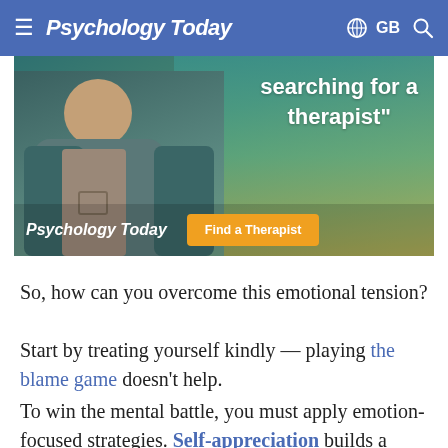≡ Psychology Today  🌐 GB 🔍
[Figure (photo): Psychology Today advertisement banner showing a man in a teal jacket with text 'searching for a therapist"' and a 'Find a Therapist' orange button with Psychology Today logo]
So, how can you overcome this emotional tension?
Start by treating yourself kindly — playing the blame game doesn't help.
To win the mental battle, you must apply emotion-focused strategies. Self-appreciation builds a